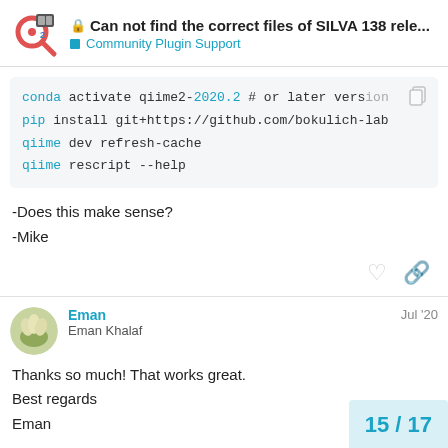Can not find the correct files of SILVA 138 rele... — Community Plugin Support
[Figure (screenshot): Code block showing conda/pip/qiime2 install commands]
-Does this make sense?
-Mike
Eman  Jul '20
Eman Khalaf
Thanks so much! That works great.
Best regards
Eman
15 / 17